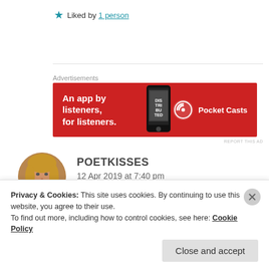★ Liked by 1 person
Advertisements
[Figure (illustration): Pocket Casts advertisement banner: red background with text 'An app by listeners, for listeners.' and Pocket Casts logo on right, phone image in center]
REPORT THIS AD
POETKISSES
12 Apr 2019 at 7:40 pm
[Figure (photo): Circular avatar photo of a blonde woman]
Privacy & Cookies: This site uses cookies. By continuing to use this website, you agree to their use.
To find out more, including how to control cookies, see here: Cookie Policy
Close and accept